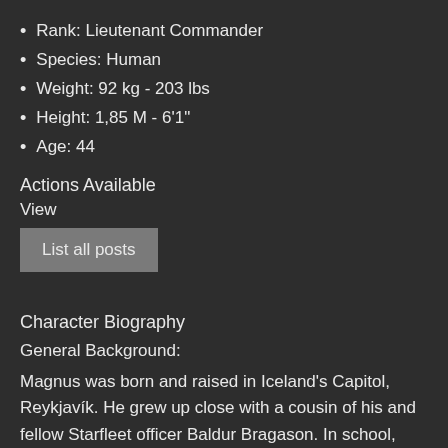Rank: Lieutenant Commander
Species: Human
Weight: 92 kg - 203 lbs
Height: 1,85 M - 6'1"
Age: 44
Actions Available
View
List all posts
Character Biography
General Background:
Magnus was born and raised in Iceland’s Capitol, Reykjavík. He grew up close with a cousin of his and fellow Starfleet officer Baldur Bragason. In school, they were inseparable